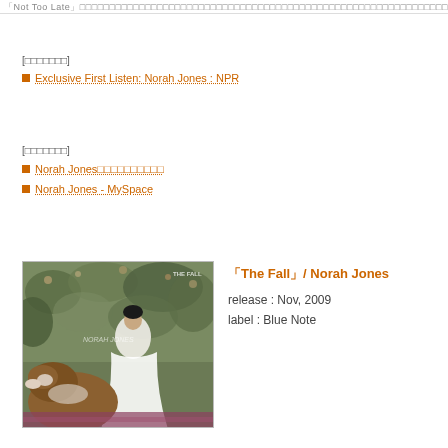「Not Too Late」…
[ウェブラジオ]
Exclusive First Listen: Norah Jones : NPR
[公式サイト]
Norah Jones日本語公式サイト
Norah Jones - MySpace
[Figure (photo): Album cover for The Fall by Norah Jones showing a woman in a white dress with a Saint Bernard dog against a floral background]
「The Fall」/ Norah Jones
release : Nov, 2009
label : Blue Note